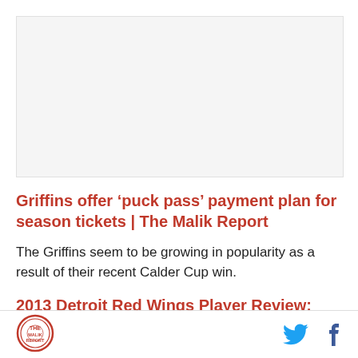[Figure (other): Placeholder image area (light gray box)]
Griffins offer ‘puck pass’ payment plan for season tickets | The Malik Report
The Griffins seem to be growing in popularity as a result of their recent Calder Cup win.
2013 Detroit Red Wings Player Review: Jakub Kindl
[Figure (logo): Circular red logo/badge in footer]
[Figure (other): Twitter bird icon and Facebook f icon in footer]